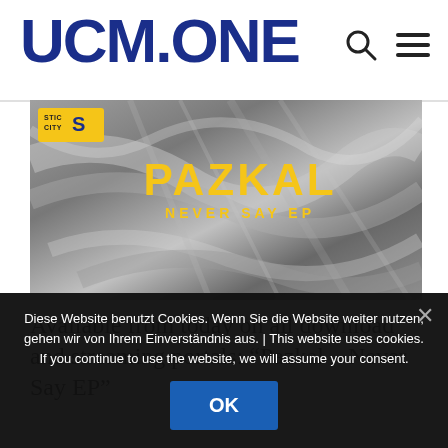UCM.ONE
[Figure (illustration): Album cover art for Pazkal – Never Say EP on Stic City Records. Dark grey abstract brushstroke background with the text PAZKAL in large gold letters and NEVER SAY EP below it in gold. A Stic City badge appears in the top-left corner.]
Available from today on all download and streaming portals: “Pazkal – Never Say EP”
Diese Website benutzt Cookies. Wenn Sie die Website weiter nutzen, gehen wir von Ihrem Einverständnis aus. | This website uses cookies. If you continue to use the website, we will assume your consent.